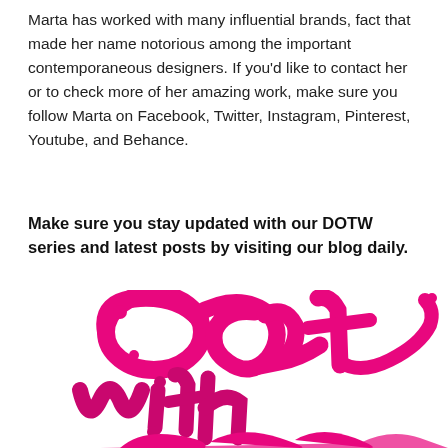Marta has worked with many influential brands, fact that made her name notorious among the important contemporaneous designers. If you'd like to contact her or to check more of her amazing work, make sure you follow Marta on Facebook, Twitter, Instagram, Pinterest, Youtube, and Behance.
Make sure you stay updated with our DOTW series and latest posts by visiting our blog daily.
[Figure (illustration): Hand-lettered script typography in bright magenta/pink reading 'Eat with Gusto!' in a fluid, organic lettering style, partially cropped at the bottom of the page.]